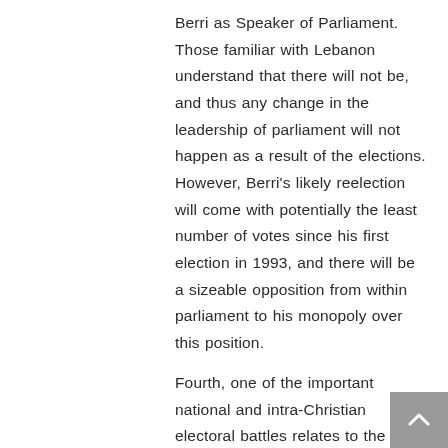Berri as Speaker of Parliament. Those familiar with Lebanon understand that there will not be, and thus any change in the leadership of parliament will not happen as a result of the elections. However, Berri's likely reelection will come with potentially the least number of votes since his first election in 1993, and there will be a sizeable opposition from within parliament to his monopoly over this position.
Fourth, one of the important national and intra-Christian electoral battles relates to the presidential election next Fall. If one of the major arguments for Michel Aoun's election in 2016 related to his popular